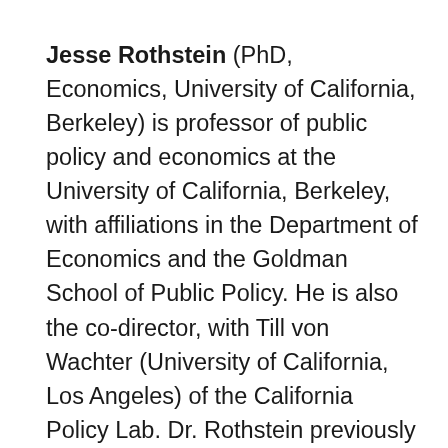Jesse Rothstein (PhD, Economics, University of California, Berkeley) is professor of public policy and economics at the University of California, Berkeley, with affiliations in the Department of Economics and the Goldman School of Public Policy. He is also the co-director, with Till von Wachter (University of California, Los Angeles) of the California Policy Lab. Dr. Rothstein previously served as chief economist at the U.S. Department of Labor and as senior economist with the Council of Economic Advisers, Executive Office of the President, both in the Obama